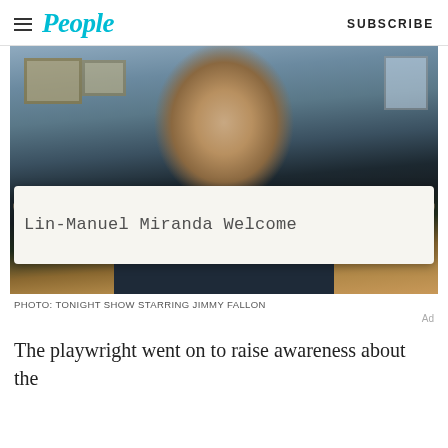People | SUBSCRIBE
[Figure (photo): A man holding a paper sign reading 'Lin-Manuel Miranda Welcome' in front of his mouth, wearing a dark navy shirt with a Lacoste logo, photographed in a rustic indoor setting.]
PHOTO: TONIGHT SHOW STARRING JIMMY FALLON
Ad
The playwright went on to raise awareness about the